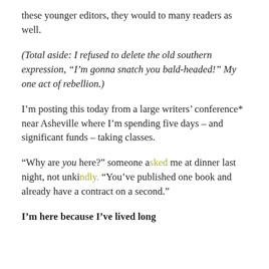these younger editors, they would to many readers as well.
(Total aside: I refused to delete the old southern expression, “I’m gonna snatch you bald-headed!” My one act of rebellion.)
I’m posting this today from a large writers’ conference* near Asheville where I’m spending five days – and significant funds – taking classes.
“Why are you here?” someone asked me at dinner last night, not unkindly. “You’ve published one book and already have a contract on a second.”
I’m here because I’ve lived long